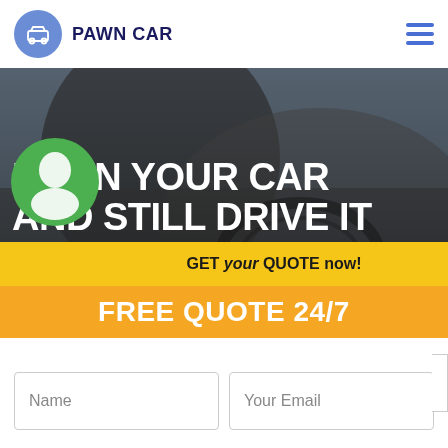[Figure (logo): Pawn Car logo: blue circle with car icon and bold dark navy text PAWN CAR]
PAWN YOUR CAR AND STILL DRIVE IT EDENVALE
[Figure (infographic): GET your QUOTE now! banner with golden background and green WhatsApp circle icon]
FREE QUOTE 24/7
Name
Your Email